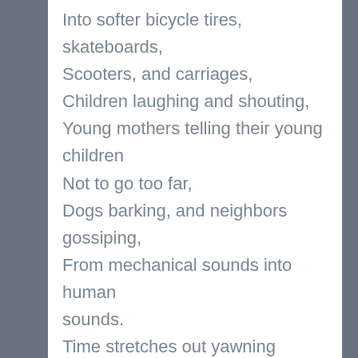Into softer bicycle tires, skateboards,
Scooters, and carriages,
Children laughing and shouting,
Young mothers telling their young children
Not to go too far,
Dogs barking, and neighbors gossiping,
From mechanical sounds into human sounds.
Time stretches out yawning
And time stretches into space
So that it seems almost enough for a